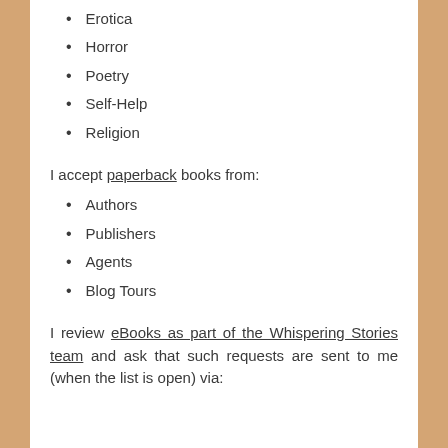Erotica
Horror
Poetry
Self-Help
Religion
I accept paperback books from:
Authors
Publishers
Agents
Blog Tours
I review eBooks as part of the Whispering Stories team and ask that such requests are sent to me (when the list is open) via: